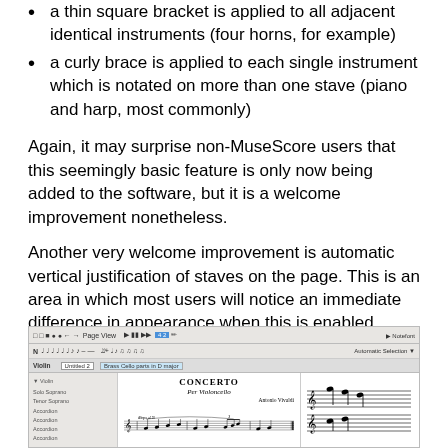a thin square bracket is applied to all adjacent identical instruments (four horns, for example)
a curly brace is applied to each single instrument which is notated on more than one stave (piano and harp, most commonly)
Again, it may surprise non-MuseScore users that this seemingly basic feature is only now being added to the software, but it is a welcome improvement nonetheless.
Another very welcome improvement is automatic vertical justification of staves on the page. This is an area in which most users will notice an immediate difference in appearance when this is enabled.
[Figure (screenshot): Screenshot of MuseScore software showing a score titled CONCERTO Per Violoncello by Antonio Vivaldi, with toolbar, sidebar instrument list, and two stave panels displaying musical notation.]